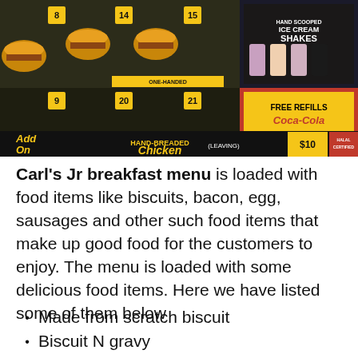[Figure (photo): Carl's Jr restaurant menu board showing burgers, combo meals, ice cream shakes, Coca-Cola free refills, and hand-breaded chicken (Halal Certified) with prices]
Carl's Jr breakfast menu is loaded with food items like biscuits, bacon, egg, sausages and other such food items that make up good food for the customers to enjoy. The menu is loaded with some delicious food items. Here we have listed some of them below
Made from scratch biscuit
Biscuit N gravy
Hash rounds